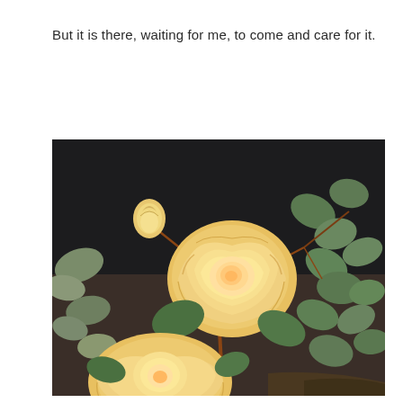But it is there, waiting for me, to come and care for it.
[Figure (photo): Close-up photograph of yellow/peach roses with green leaves and reddish-brown stems against a dark background. Two open blooms visible — one large in the center and one partially visible at the bottom-left — plus a small bud in the upper-left corner.]